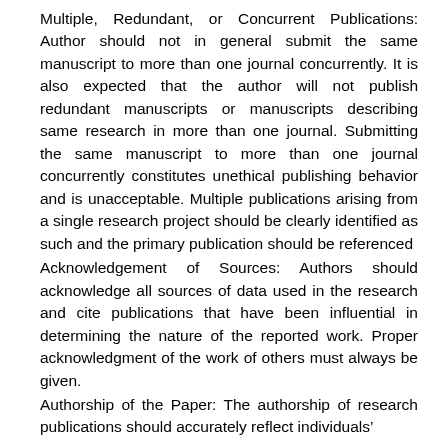Multiple, Redundant, or Concurrent Publications: Author should not in general submit the same manuscript to more than one journal concurrently. It is also expected that the author will not publish redundant manuscripts or manuscripts describing same research in more than one journal. Submitting the same manuscript to more than one journal concurrently constitutes unethical publishing behavior and is unacceptable. Multiple publications arising from a single research project should be clearly identified as such and the primary publication should be referenced
Acknowledgement of Sources: Authors should acknowledge all sources of data used in the research and cite publications that have been influential in determining the nature of the reported work. Proper acknowledgment of the work of others must always be given.
Authorship of the Paper: The authorship of research publications should accurately reflect individuals’